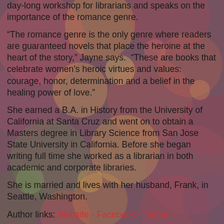day-long workshop for librarians and speaks on the importance of the romance genre.
“The romance genre is the only genre where readers are guaranteed novels that place the heroine at the heart of the story,” Jayne says.  “These are books that celebrate women’s heroic virtues and values:  courage, honor, determination and a belief in the healing power of love.”
She earned a B.A. in History from the University of California at Santa Cruz and went on to obtain a Masters degree in Library Science from San Jose State University in California. Before she began writing full time she worked as a librarian in both academic and corporate libraries.
She is married and lives with her husband, Frank, in Seattle, Washington.
Author links: Website - Facebook - Twitter - Newsletter
Find me around SOCIAL MEDIA: Deanna’s World - Daz in the Nothingness - Facebook - Twitter - Goodreads - Bookbub